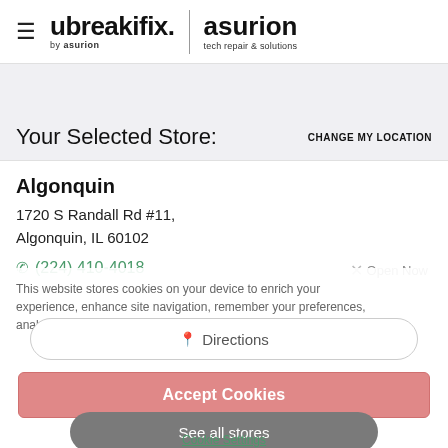ubreakifix. BY asurion | asurion tech repair & solutions
Your Selected Store:
CHANGE MY LOCATION
Algonquin
1720 S Randall Rd #11,
Algonquin, IL 60102
(224) 410-4018
Open Now
This website stores cookies on your device to enrich your experience, enhance site navigation, remember your preferences, analyze site usage, and assist in our marketing efforts.
Directions
Accept Cookies
See all stores
Cookie Settings